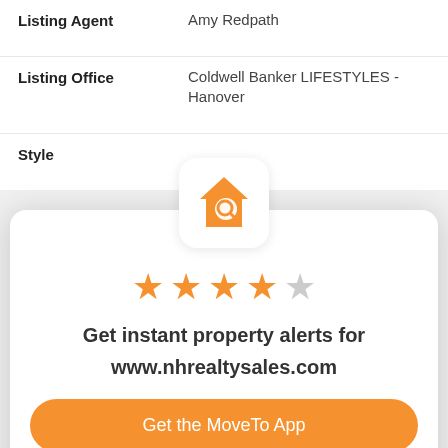| Listing Agent | Amy Redpath |
| Listing Office | Coldwell Banker LIFESTYLES - Hanover |
| Style |  |
[Figure (logo): House search app icon — orange house with magnifying glass]
[Figure (infographic): 4 out of 5 orange stars rating]
Get instant property alerts for www.nhrealtysales.com
Get the MoveTo App
Not Now